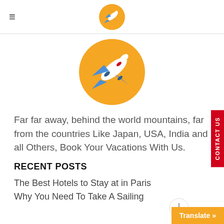≡ [travel logo with airplane icon]
[Figure (logo): Orange circle with a blue and white airplane illustration, large version, centered on page]
Far far away, behind the world mountains, far from the countries Like Japan, USA, India and all Others, Book Your Vacations With Us.
RECENT POSTS
The Best Hotels to Stay at in Paris
Why You Need To Take A Sailing